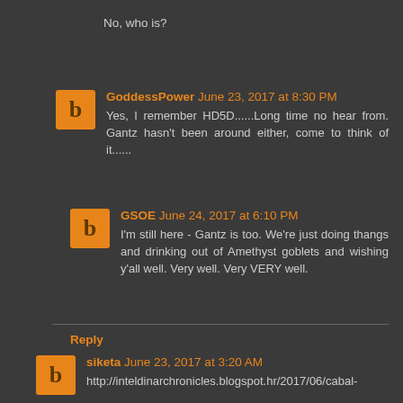No, who is?
GoddessPower June 23, 2017 at 8:30 PM
Yes, I remember HD5D......Long time no hear from. Gantz hasn't been around either, come to think of it......
GSOE June 24, 2017 at 6:10 PM
I'm still here - Gantz is too. We're just doing thangs and drinking out of Amethyst goblets and wishing y'all well. Very well. Very VERY well.
Reply
siketa June 23, 2017 at 3:20 AM
http://inteldinarchronicles.blogspot.hr/2017/06/cabal-